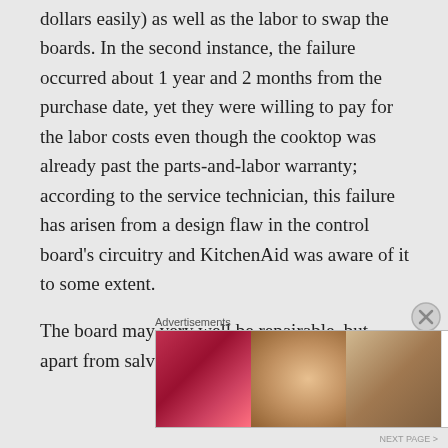dollars easily) as well as the labor to swap the boards. In the second instance, the failure occurred about 1 year and 2 months from the purchase date, yet they were willing to pay for the labor costs even though the cooktop was already past the parts-and-labor warranty; according to the service technician, this failure has arisen from a design flaw in the control board's circuitry and KitchenAid was aware of it to some extent.
The board may very well be repairable, but apart from salvaging any non-damaged
Advertisements
[Figure (photo): Beauty/cosmetics advertisement banner showing close-up makeup images (lips with lipstick, makeup brush, eye with eyeliner, ULTA beauty logo, eyes with dramatic eye makeup) with SHOP NOW call to action]